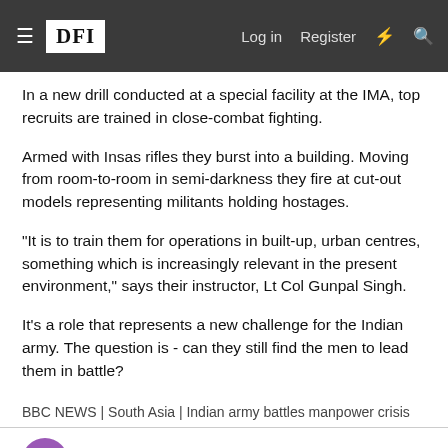≡ DFI   Log in   Register
In a new drill conducted at a special facility at the IMA, top recruits are trained in close-combat fighting.
Armed with Insas rifles they burst into a building. Moving from room-to-room in semi-darkness they fire at cut-out models representing militants holding hostages.
"It is to train them for operations in built-up, urban centres, something which is increasingly relevant in the present environment," says their instructor, Lt Col Gunpal Singh.
It's a role that represents a new challenge for the Indian army. The question is - can they still find the men to lead them in battle?
BBC NEWS | South Asia | Indian army battles manpower crisis
screwterrorists